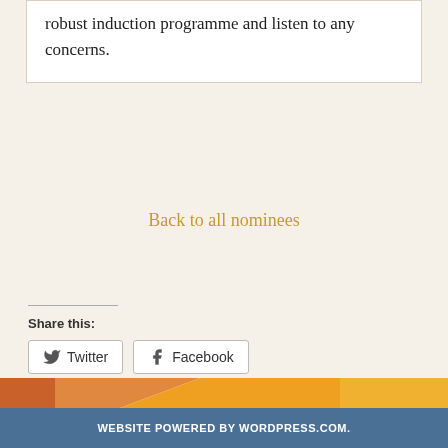robust induction programme and listen to any concerns.
Back to all nominees
Share this:
Twitter
Facebook
Loading...
WEBSITE POWERED BY WORDPRESS.COM.